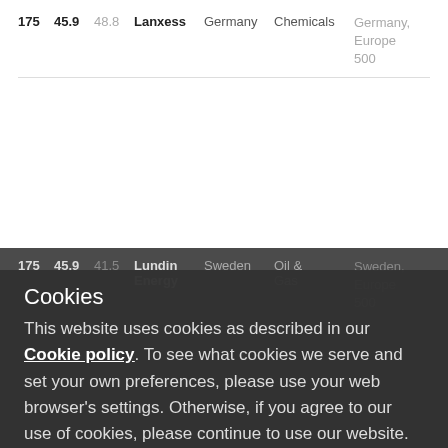| # | Score1 | Score2 | Name | Country | Sector | Index |
| --- | --- | --- | --- | --- | --- | --- |
| 175 | 45.9 | 48.8 | Lanxess | Germany | Chemicals | Germany, Europe 500 |
| # | Score1 | Score2 | Name | Country | Sector | Index |
| --- | --- | --- | --- | --- | --- | --- |
| 175 | 45.9 | 41.5 | Lundin Energy | Sweden | Oil & Gas | Sweden, Europe 500 |
| 179 | 45.7 | 51.0 | AstraZeneca | UK | Health Care | Sweden, UK, Europe 500 |
| 180 | 45.6 | 48.6 | Ericsson | Sweden | Technology | Sweden, Europe 500 |
Cookies
This website uses cookies as described in our Cookie policy. To see what cookies we serve and set your own preferences, please use your web browser's settings. Otherwise, if you agree to our use of cookies, please continue to use our website.
Accept